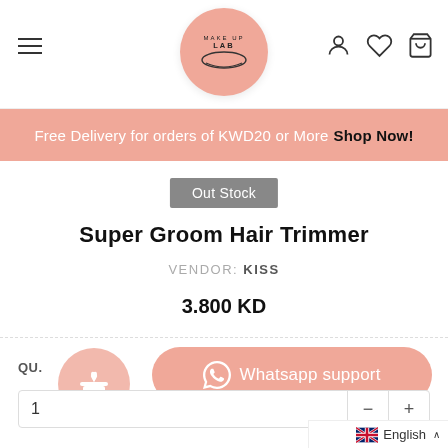[Figure (logo): Make Up Lab logo - pink circle with brand name]
Free Delivery for orders of KWD20 or More Shop Now!
Out Stock
Super Groom Hair Trimmer
VENDOR: KISS
3.800 KD
QU.
Whatsapp support
1
English